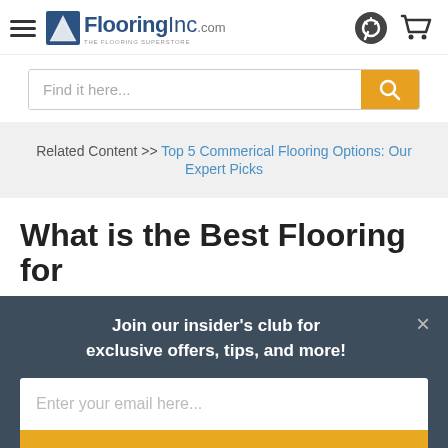FlooringInc.com — THE FLOORING SUPERSTORE
Find it here...
Related Content >> Top 5 Commerical Flooring Options: Our Expert Picks
What is the Best Flooring for
Join our insider's club for exclusive offers, tips, and more!
Enter your email here...
Sign Up